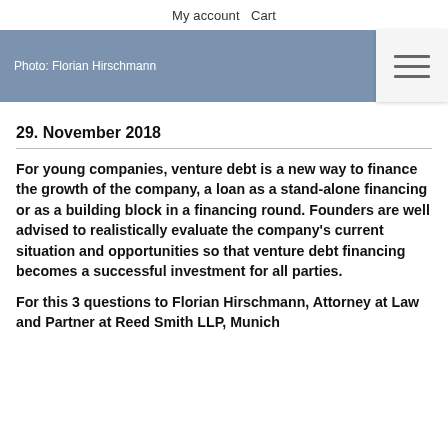My account  Cart
Photo: Florian Hirschmann
29. November 2018
For young companies, venture debt is a new way to finance the growth of the company, a loan as a stand-alone financing or as a building block in a financing round. Founders are well advised to realistically evaluate the company’s current situation and opportunities so that venture debt financing becomes a successful investment for all parties.
For this 3 questions to Florian Hirschmann, Attorney at Law and Partner at Reed Smith LLP, Munich